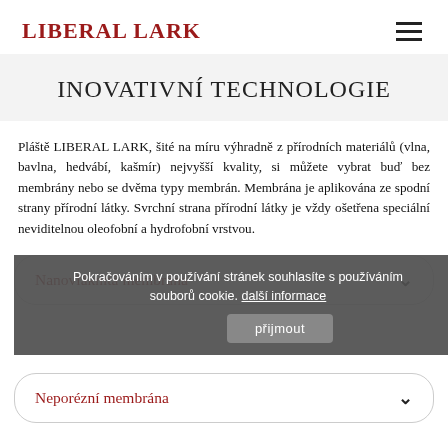LIBERAL LARK
INOVATIVNÍ TECHNOLOGIE
Pláště LIBERAL LARK, šité na míru výhradně z přírodních materiálů (vlna, bavlna, hedvábí, kašmír) nejvyšší kvality, si můžete vybrat buď bez membrány nebo se dvěma typy membrán. Membrána je aplikována ze spodní strany přírodní látky. Svrchní strana přírodní látky je vždy ošetřena speciální neviditelnou oleofobní a hydrofobní vrstvou.
Nanovláknitá membrána
Pokračováním v používání stránek souhlasíte s používáním souborů cookie. další informace
Neporézní membrána